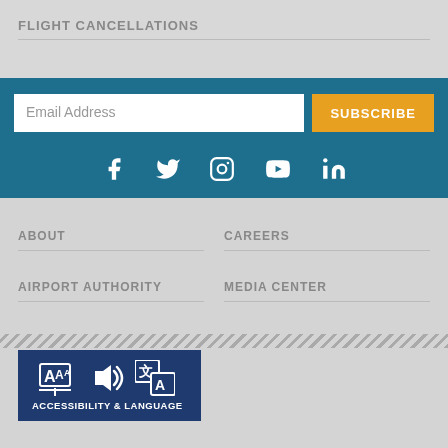FLIGHT CANCELLATIONS
Email Address
SUBSCRIBE
[Figure (infographic): Social media icons: Facebook, Twitter, Instagram, YouTube, LinkedIn in white on teal background]
ABOUT
CAREERS
AIRPORT AUTHORITY
MEDIA CENTER
[Figure (infographic): Accessibility & Language badge with text resize icon, audio/speaker icon, and translate icon on dark navy background]